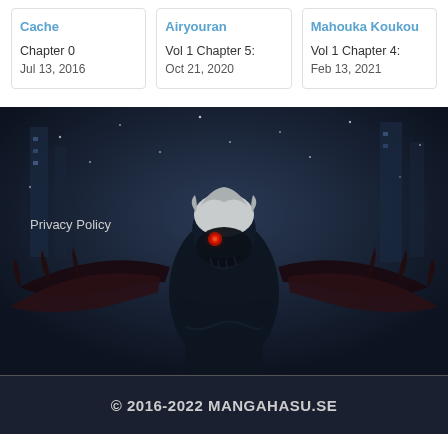Cache - Chapter 0 - Jul 13, 2016
Airyouran - Vol 1 Chapter 5: - Oct 21, 2020
Mahouka Koukou - Vol 1 Chapter 4: - Feb 13, 2021
[Figure (illustration): Dark anime artwork of a ghoul-like character with white hair, glowing red eye, wearing a mask, spreading wide wings/arms in a snowy urban night scene.]
Privacy Policy
© 2016-2022 MANGAHASU.SE